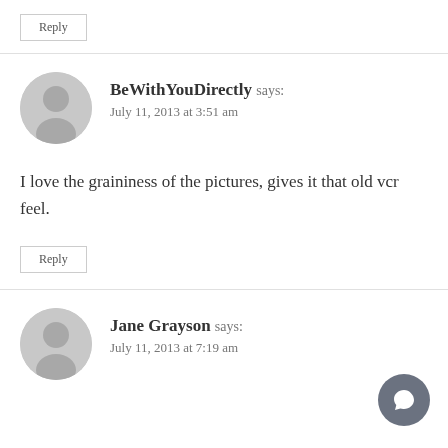Reply
BeWithYouDirectly says:
July 11, 2013 at 3:51 am
I love the graininess of the pictures, gives it that old vcr feel.
Reply
Jane Grayson says:
July 11, 2013 at 7:19 am